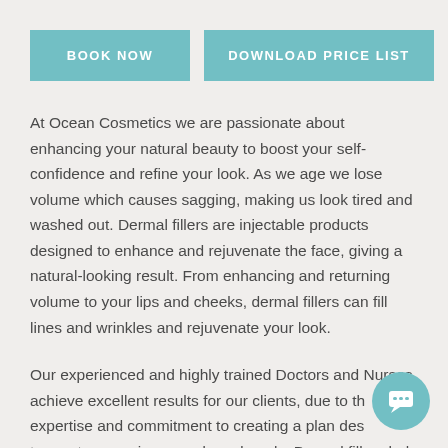BOOK NOW
DOWNLOAD PRICE LIST
At Ocean Cosmetics we are passionate about enhancing your natural beauty to boost your self-confidence and refine your look. As we age we lose volume which causes sagging, making us look tired and washed out. Dermal fillers are injectable products designed to enhance and rejuvenate the face, giving a natural-looking result. From enhancing and returning volume to your lips and cheeks, dermal fillers can fill lines and wrinkles and rejuvenate your look.
Our experienced and highly trained Doctors and Nurses achieve excellent results for our clients, due to their expertise and commitment to creating a plan designed to meet your unique needs and goals. Dermal fillers help